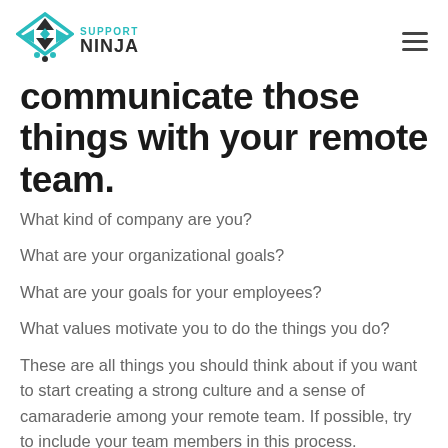[Figure (logo): Support Ninja logo with geometric ninja star icon in dark grey and teal, with text SUPPORT NINJA in teal and dark grey]
communicate those things with your remote team.
What kind of company are you?
What are your organizational goals?
What are your goals for your employees?
What values motivate you to do the things you do?
These are all things you should think about if you want to start creating a strong culture and a sense of camaraderie among your remote team. If possible, try to include your team members in this process.